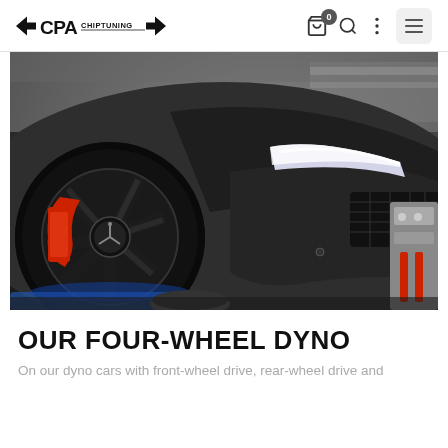CPA Chiptuning — navigation bar with logo, bag icon (0), search, more options, and menu
[Figure (photo): Close-up front-left view of a dark matte grey Mercedes-AMG sports car on a four-wheel dyno in a workshop. The spinning rear wheel with red brake calipers is visible in the foreground, and the aggressive front fascia with LED headlights is shown. Dyno rollers and equipment are visible underneath and to the right.]
OUR FOUR-WHEEL DYNO
On our dyno cars with front-wheel drive, rear-wheel drive and